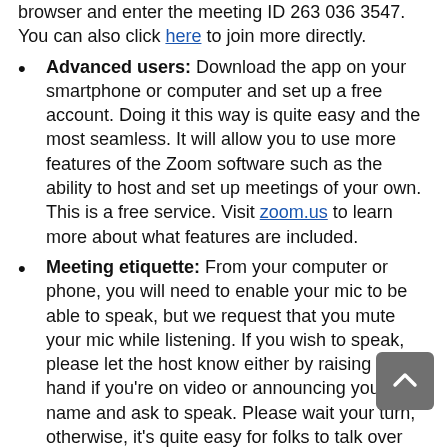browser and enter the meeting ID 263 036 3547. You can also click here to join more directly.
Advanced users: Download the app on your smartphone or computer and set up a free account. Doing it this way is quite easy and the most seamless. It will allow you to use more features of the Zoom software such as the ability to host and set up meetings of your own. This is a free service. Visit zoom.us to learn more about what features are included.
Meeting etiquette: From your computer or phone, you will need to enable your mic to be able to speak, but we request that you mute your mic while listening. If you wish to speak, please let the host know either by raising your hand if you’re on video or announcing your name and ask to speak. Please wait your turn, otherwise, it’s quite easy for folks to talk over one another and not be heard. We encourage all to attend and be respectful.